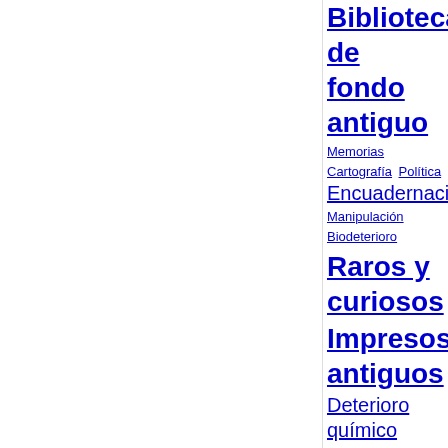Bibliotecas de fondo antiguo
Memorias
Cartografía
Política
Encuadernación
Manipulación
Biodeterioro
Raros y curiosos
Impresos antiguos
Deterioro químico
Tasación
Videoconferencias
Gramáticas
Mujeres
Fondos americanos
Congresos
Historia
Facsímiles
Edición digital
Contaminación del aire
Librerías
Restauración de encuadernaciones